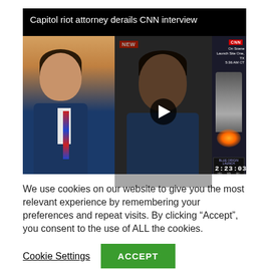[Figure (screenshot): CNN news video thumbnail showing two anchors/guests with 'Capitol Siege' lower third, play button overlay, and Blue Origin launch countdown (2:23:03) in right panel. Title reads: Capitol riot attorney derails CNN interview]
We use cookies on our website to give you the most relevant experience by remembering your preferences and repeat visits. By clicking “Accept”, you consent to the use of ALL the cookies.
Cookie Settings
ACCEPT